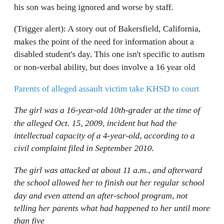his son was being ignored and worse by staff.
(Trigger alert): A story out of Bakersfield, California, makes the point of the need for information about a disabled student's day. This one isn't specific to autism or non-verbal ability, but does involve a 16 year old
Parents of alleged assault victim take KHSD to court
The girl was a 16-year-old 10th-grader at the time of the alleged Oct. 15, 2009, incident but had the intellectual capacity of a 4-year-old, according to a civil complaint filed in September 2010.
The girl was attacked at about 11 a.m., and afterward the school allowed her to finish out her regular school day and even attend an after-school program, not telling her parents what had happened to her until more than five